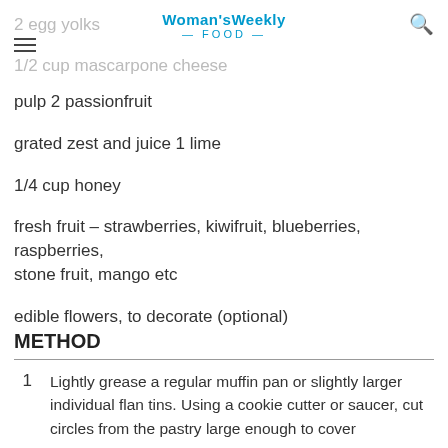Woman's Weekly FOOD
2 egg yolks
1/2 cup mascarpone cheese
pulp 2 passionfruit
grated zest and juice 1 lime
1/4 cup honey
fresh fruit – strawberries, kiwifruit, blueberries, raspberries, stone fruit, mango etc
edible flowers, to decorate (optional)
METHOD
Lightly grease a regular muffin pan or slightly larger individual flan tins. Using a cookie cutter or saucer, cut circles from the pastry large enough to cover